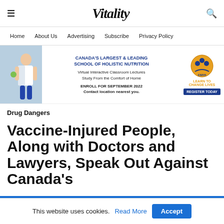Vitality
Home   About Us   Advertising   Subscribe   Privacy Policy
[Figure (infographic): CSNN advertisement banner: Canada's Largest & Leading School of Holistic Nutrition. Virtual Interactive Classroom Lectures, Study From the Comfort of Home. Enroll for September 2022, Contact location nearest you. CSNN logo with Register Today button.]
Drug Dangers
Vaccine-Injured People, Along with Doctors and Lawyers, Speak Out Against Canada's
This website uses cookies. Read More Accept